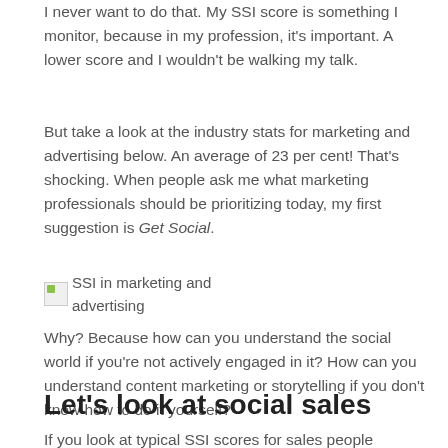I never want to do that. My SSI score is something I monitor, because in my profession, it's important. A lower score and I wouldn't be walking my talk.
But take a look at the industry stats for marketing and advertising below. An average of 23 per cent! That's shocking. When people ask me what marketing professionals should be prioritizing today, my first suggestion is Get Social.
[Figure (other): Image placeholder labeled 'SSI in marketing and advertising']
Why? Because how can you understand the social world if you're not actively engaged in it? How can you understand content marketing or storytelling if you don't know how to do it yourself?
Let's look at social sales
If you look at typical SSI scores for sales people working for